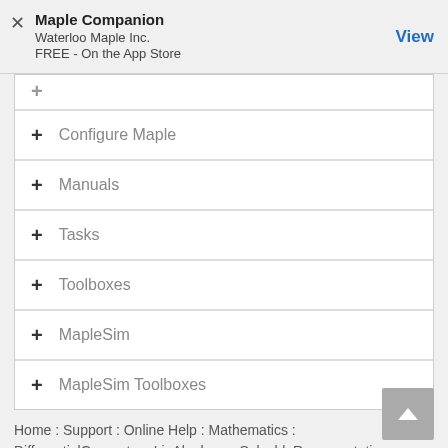Maple Companion
Waterloo Maple Inc.
FREE - On the App Store
+ Configure Maple
+ Manuals
+ Tasks
+ Toolboxes
+ MapleSim
+ MapleSim Toolboxes
Home : Support : Online Help : Mathematics : DifferentialGeometry : LieAlgebras : SolvableRepresentation